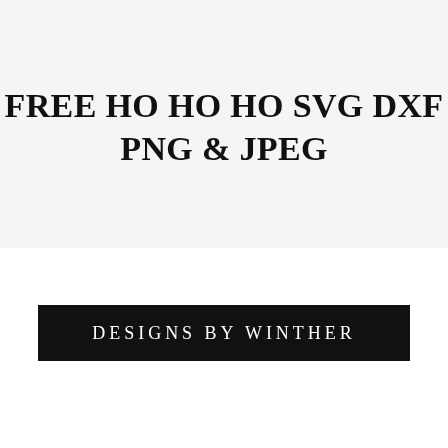FREE HO HO HO SVG DXF PNG & JPEG
DESIGNS BY WINTHER